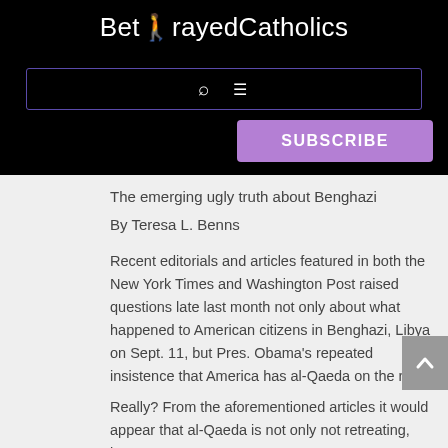BetrayedCatholics
SUBSCRIBE
The emerging ugly truth about Benghazi
By Teresa L. Benns
Recent editorials and articles featured in both the New York Times and Washington Post raised questions late last month not only about what happened to American citizens in Benghazi, Libya on Sept. 11, but Pres. Obama's repeated insistence that America has al-Qaeda on the run.
Really? From the aforementioned articles it would appear that al-Qaeda is not only not retreating, but